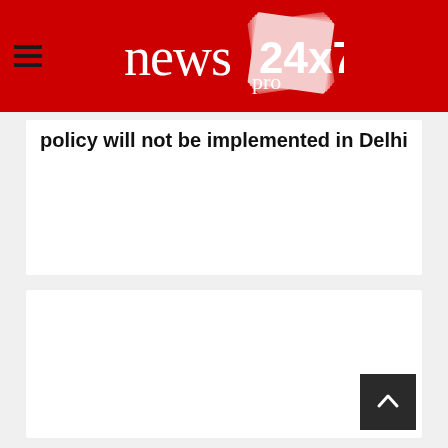news pro 24x7
policy will not be implemented in Delhi
[Figure (screenshot): Back-to-top button, dark square with upward chevron arrow]